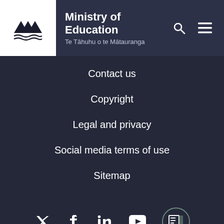Ministry of Education | Te Tāhuhu o te Mātauranga
Contact us
Copyright
Legal and privacy
Social media terms of use
Sitemap
[Figure (logo): Social media icons: Twitter, Facebook, LinkedIn, YouTube, and a custom icon]
Te Kāwanatanga o Aotearoa